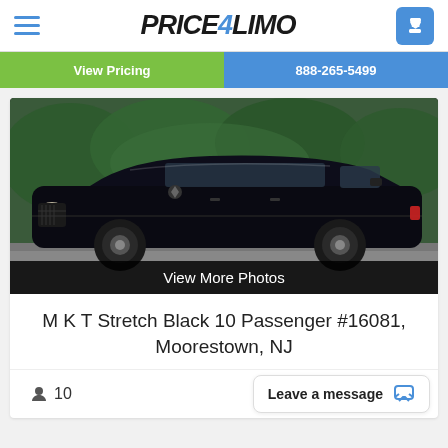PRICE4LIMO
View Pricing | 888-265-5499
[Figure (photo): Black stretch limousine (Lincoln MKT) parked on a driveway with green trees in the background. View More Photos button below.]
M K T Stretch Black 10 Passenger #16081, Moorestown, NJ
10 | Leave a message